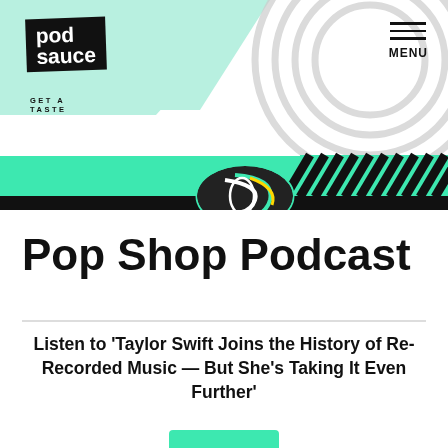[Figure (logo): Pod Sauce logo — black box with white text 'pod sauce' and tagline 'GET A TASTE']
[Figure (illustration): Website header with mint/teal background, decorative gray arcs, diagonal black lines, and a swirling circular graphic]
Pop Shop Podcast
Listen to ‘Taylor Swift Joins the History of Re-Recorded Music — But She’s Taking It Even Further’